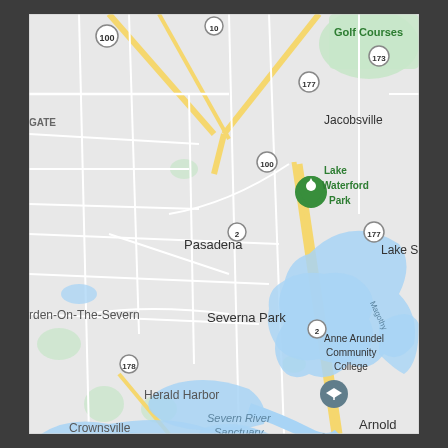[Figure (map): Google Maps screenshot showing the Pasadena/Severna Park area of Anne Arundel County, Maryland. Shows roads including routes 100, 10, 177, 2, 178, 173. Labels visible: Golf Courses, Jacobsville, Lake Waterford Park (with green pin icon), Pasadena, Lake S(undermere partially cut off), rden-On-The-Severn (Arnold-On-The-Severn partially cut off), Severna Park, Anne Arundel Community College (with graduation cap icon), Herald Harbor, Severn River Sanctuary, Crownsville, Arnold. Blue water bodies visible including Severn River area and Magothy River. Yellow roads/highways diagonal across the map.]